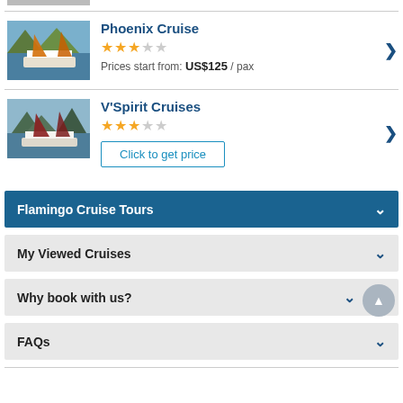[Figure (photo): Partial cruise ship image at top]
Phoenix Cruise — 3 stars — Prices start from: US$125 / pax
[Figure (photo): Photo of Phoenix Cruise junk boat with orange sails on water]
V'Spirit Cruises — 3 stars — Click to get price
[Figure (photo): Photo of V'Spirit Cruises junk boat with dark red sails]
Flamingo Cruise Tours
My Viewed Cruises
Why book with us?
FAQs